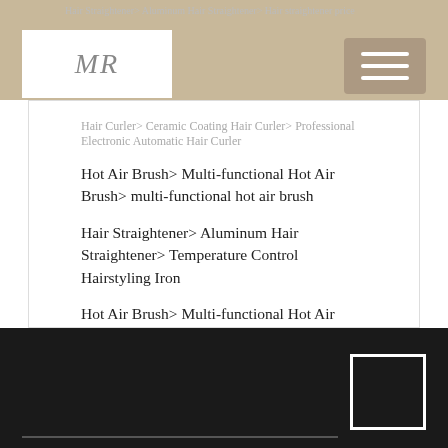Hair Straightener > Aluminum Hair Straightener > Hair straightener price
[Figure (logo): MR logo in silver italic text on white background]
Hair Curler > Ceramic Coating Hair Curler > Professional Electronic Automatic Hair Curler
Hot Air Brush > Multi-functional Hot Air Brush > multi-functional hot air brush
Hair Straightener > Aluminum Hair Straightener > Temperature Control Hairstyling Iron
Hot Air Brush > Multi-functional Hot Air Brush > Professional multi-functional hair brush
Hot Air Brush > Multi-functional Hot Air Brush > Professional salon products hair brush